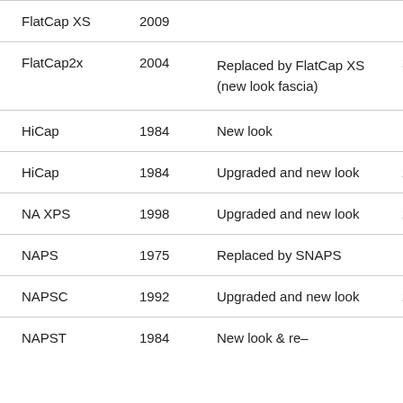| FlatCap XS | 2009 |  |  |
| FlatCap2x | 2004 | Replaced by FlatCap XS (new look fascia) | 2009 |
| HiCap | 1984 | New look | 1989 |
| HiCap | 1984 | Upgraded and new look | 2002 |
| NA XPS | 1998 | Upgraded and new look | 2002 |
| NAPS | 1975 | Replaced by SNAPS | 1978 |
| NAPSC | 1992 | Upgraded and new look | 2002 |
| NAPST | 1984 | New look & re– | 1989 |